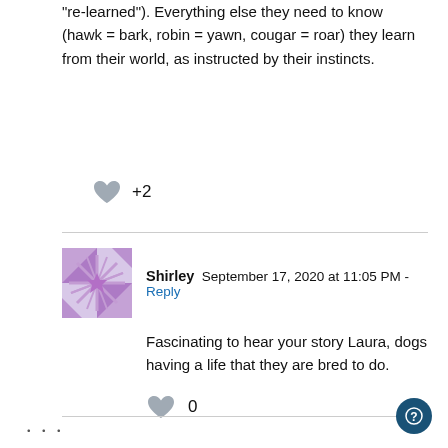“re-learned”). Everything else they need to know (hawk = bark, robin = yawn, cougar = roar) they learn from their world, as instructed by their instincts.
+2
Shirley  September 17, 2020 at 11:05 PM - Reply
Fascinating to hear your story Laura, dogs having a life that they are bred to do.
0